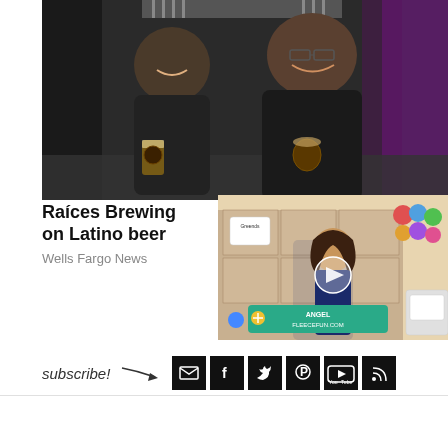[Figure (photo): Two men in black hoodies smiling at the camera inside a brewery, holding beer glasses. Beer taps visible in background with purple lighting.]
Raíces Brewing on Latino beer
Wells Fargo News
[Figure (screenshot): Video thumbnail showing a woman in a navy dress standing in front of colorful shelves filled with craft supplies. A play button is visible in the center. A banner reads 'Angel FleeceFun.com'. A sewing machine is visible on the right.]
subscribe!
[Figure (infographic): Subscribe section with social media icons: email, Facebook, Twitter, Pinterest, YouTube, RSS feed]